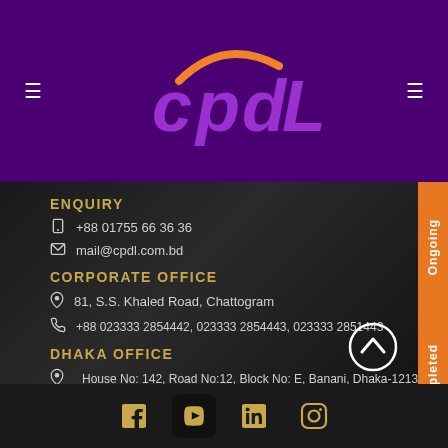CPDL logo header with navigation menu icons
[Figure (logo): CPDL company logo with orange arc and purple text on dark purple background]
ENQUIRY
+88 01755 66 36 36
mail@cpdl.com.bd
CORPORATE OFFICE
81, S.S. Khaled Road, Chattogram
+88 023333 2854442, 023333 2854443, 023333 2851443
DHAKA OFFICE
House No: 142, Road No:12, Block No: E, Banani, Dhaka-1213
[Figure (infographic): Social media icons: Facebook, YouTube, LinkedIn, Instagram in a dark footer bar. Orange vertical tab buttons on right side reading Ongoing and Completed.]